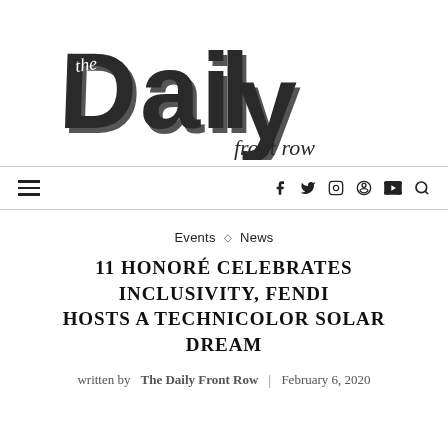[Figure (logo): The Daily Front Row logo — large bold stylized 'Daily' in dark grey/black with 3D bevel effect, 'the' in script above the D, 'front row' in cursive script below]
≡   f  y  ©  ®  ▶  🔍
Events  ◇  News
11 HONORÉ CELEBRATES INCLUSIVITY, FENDI HOSTS A TECHNICOLOR SOLAR DREAM
written by The Daily Front Row  |  February 6, 2020